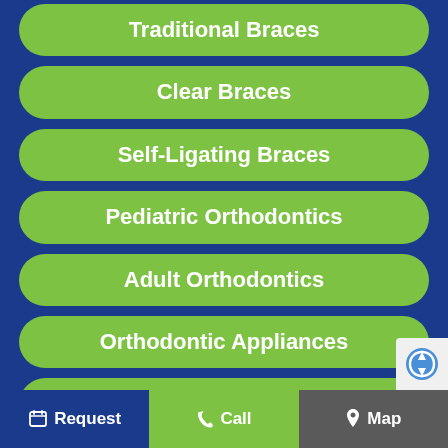Traditional Braces
Clear Braces
Self-Ligating Braces
Pediatric Orthodontics
Adult Orthodontics
Orthodontic Appliances
Dentofacial Orthopedics
Request  Call  Map